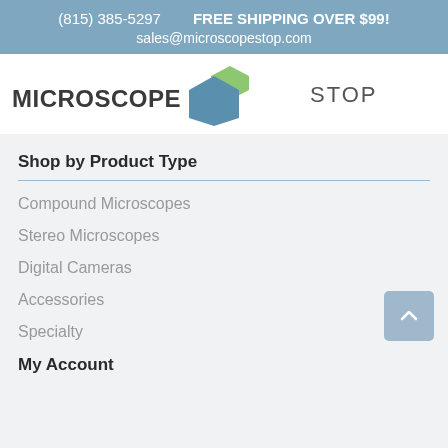(815) 385-5297   FREE SHIPPING OVER $99!   sales@microscopestop.com
[Figure (logo): Microscope Stop logo with hexagon shapes in blue and green]
Shop by Product Type
Compound Microscopes
Stereo Microscopes
Digital Cameras
Accessories
Specialty
My Account